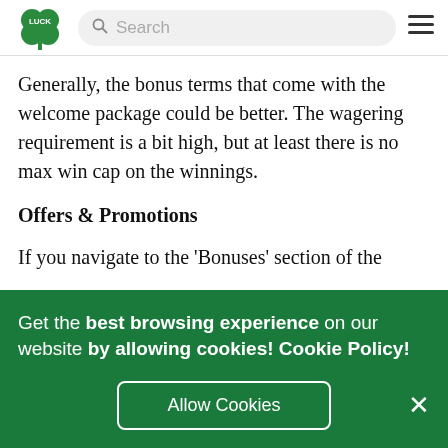Luck [logo] Search [hamburger menu]
Generally, the bonus terms that come with the welcome package could be better. The wagering requirement is a bit high, but at least there is no max win cap on the winnings.
Offers & Promotions
If you navigate to the 'Bonuses' section of the
Get the best browsing experience on our website by allowing cookies! Cookie Policy!
Allow Cookies